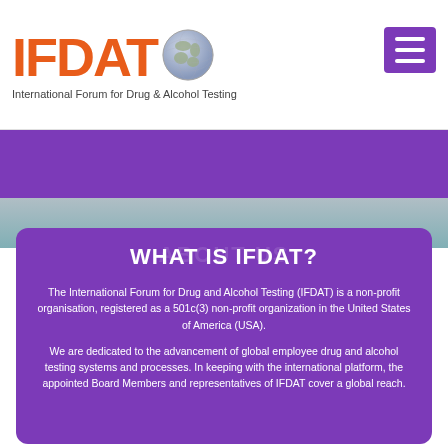[Figure (logo): IFDAT logo with globe icon and tagline 'International Forum for Drug & Alcohol Testing']
WHAT IS IFDAT?
The International Forum for Drug and Alcohol Testing (IFDAT) is a non-profit organisation, registered as a 501c(3) non-profit organization in the United States of America (USA).
We are dedicated to the advancement of global employee drug and alcohol testing systems and processes. In keeping with the international platform, the appointed Board Members and representatives of IFDAT cover a global reach.